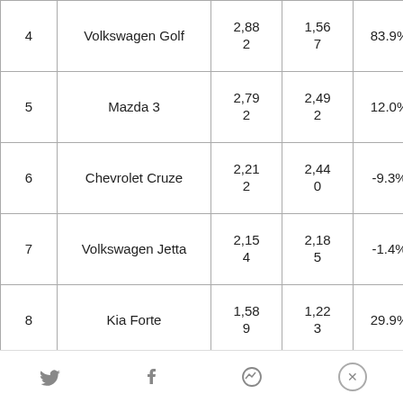| # | Model | 2014 | 2013 | Change | Price |
| --- | --- | --- | --- | --- | --- |
| 4 | Volkswagen Golf | 2,882 | 1,567 | 83.9% | 16,915 |
| 5 | Mazda 3 | 2,792 | 2,492 | 12.0% | 19,733 |
| 6 | Chevrolet Cruze | 2,212 | 2,440 | -9.3% | 19,924 |
| 7 | Volkswagen Jetta | 2,154 | 2,185 | -1.4% | 12,710 |
| 8 | Kia Forte | 1,589 | 1,223 | 29.9% | 11,672 |
Twitter | Facebook | Messenger | Close